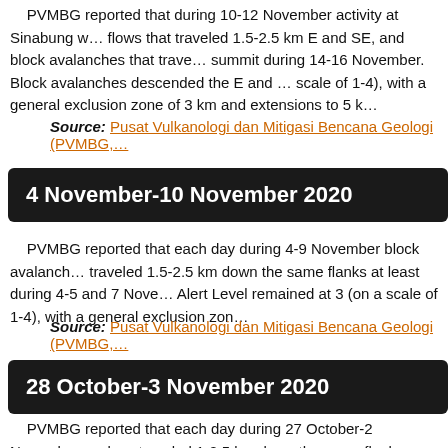PVMBG reported that during 10-12 November activity at Sinabung w… flows that traveled 1.5-2.5 km E and SE, and block avalanches that trave… summit during 14-16 November. Block avalanches descended the E and … scale of 1-4), with a general exclusion zone of 3 km and extensions to 5 k…
Source: Pusat Vulkanologi dan Mitigasi Bencana Geologi (PVMBG,…
4 November-10 November 2020
PVMBG reported that each day during 4-9 November block avalanch… traveled 1.5-2.5 km down the same flanks at least during 4-5 and 7 Nove… Alert Level remained at 3 (on a scale of 1-4), with a general exclusion zon…
Source: Pusat Vulkanologi dan Mitigasi Bencana Geologi (PVMBG,…
28 October-3 November 2020
PVMBG reported that each day during 27 October-2 November avala… traveled 1-2.5 km down the same flanks almost daily. According to a news… and caused ashfall in areas within 10 km downwind, particularly in Kaban…